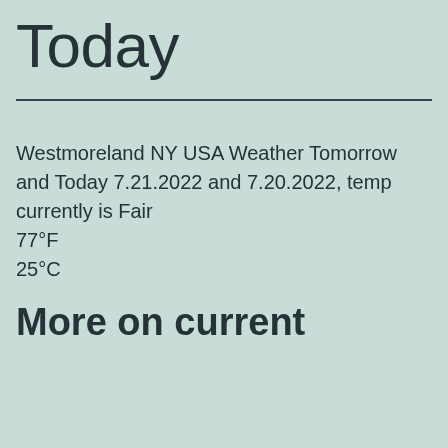Today
Westmoreland NY USA Weather Tomorrow and Today 7.21.2022 and 7.20.2022, temp currently is Fair
77°F
25°C
More on current